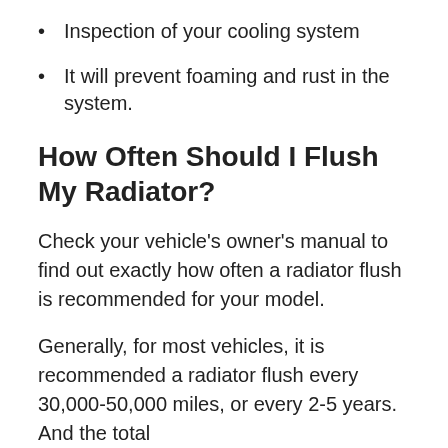Inspection of your cooling system
It will prevent foaming and rust in the system.
How Often Should I Flush My Radiator?
Check your vehicle’s owner’s manual to find out exactly how often a radiator flush is recommended for your model.
Generally, for most vehicles, it is recommended a radiator flush every 30,000-50,000 miles, or every 2-5 years. And the total